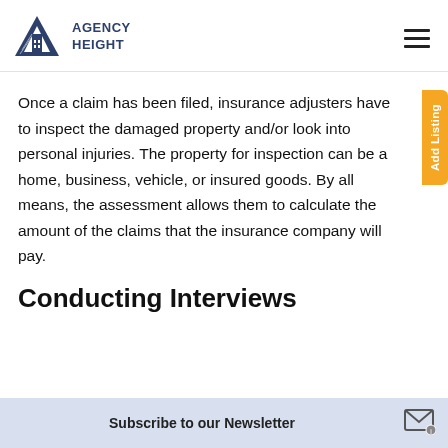AGENCY HEIGHT
Once a claim has been filed, insurance adjusters have to inspect the damaged property and/or look into personal injuries. The property for inspection can be a home, business, vehicle, or insured goods. By all means, the assessment allows them to calculate the amount of the claims that the insurance company will pay.
Conducting Interviews
Subscribe to our Newsletter